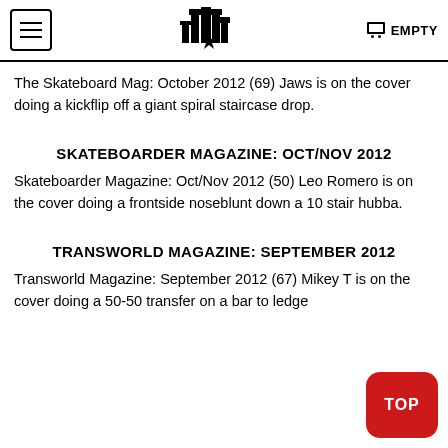EMPTY
The Skateboard Mag: October 2012 (69) Jaws is on the cover doing a kickflip off a giant spiral staircase drop.
SKATEBOARDER MAGAZINE: OCT/NOV 2012
Skateboarder Magazine: Oct/Nov 2012 (50) Leo Romero is on the cover doing a frontside noseblunt down a 10 stair hubba.
TRANSWORLD MAGAZINE: SEPTEMBER 2012
Transworld Magazine: September 2012 (67) Mikey T is on the cover doing a 50-50 transfer on a bar to ledge